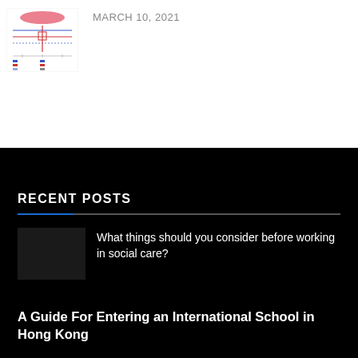[Figure (other): Small thumbnail image of a scientific chart/diagram with pink and blue colored graph elements on white background]
MARCH 10, 2021
RECENT POSTS
What things should you consider before working in social care?
A Guide For Entering an International School in Hong Kong